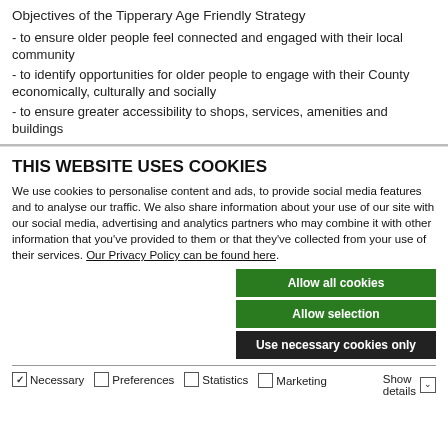Objectives of the Tipperary Age Friendly Strategy
- to ensure older people feel connected and engaged with their local community
- to identify opportunities for older people to engage with their County economically, culturally and socially
- to ensure greater accessibility to shops, services, amenities and buildings
THIS WEBSITE USES COOKIES
We use cookies to personalise content and ads, to provide social media features and to analyse our traffic. We also share information about your use of our site with our social media, advertising and analytics partners who may combine it with other information that you've provided to them or that they've collected from your use of their services. Our Privacy Policy can be found here.
Allow all cookies
Allow selection
Use necessary cookies only
Necessary  Preferences  Statistics  Marketing  Show details